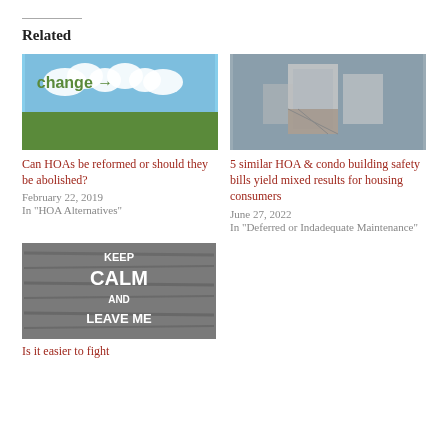Related
[Figure (photo): Sky with word 'change' and arrow written in clouds above green field]
Can HOAs be reformed or should they be abolished?
February 22, 2019
In "HOA Alternatives"
[Figure (photo): Aerial view of collapsed or damaged building under construction]
5 similar HOA & condo building safety bills yield mixed results for housing consumers
June 27, 2022
In "Deferred or Indadequate Maintenance"
[Figure (photo): Keep Calm and Leave Me sign on wooden background]
Is it easier to fight